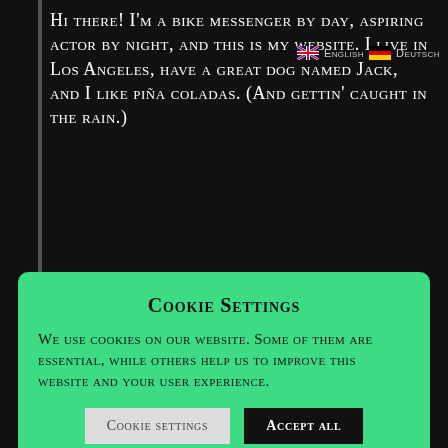Hi there! I'm a bike messenger by day, aspiring actor by night, and this is my website. I live in Los Angeles, have a great dog named Jack, and I like piña coladas. (And gettin' caught in the rain.)
[Figure (other): UK and German flag icons with language labels English and Deutsch]
Cookie Settings
We use cookies on our website. Some of them are essential, while others help us to improve this website and your user experience.
Cookie settings | Accept all (buttons)
things for the Gotham community.
As a new WordPress user, you should go to your dashboard to delete this page and create new pages for your content. Have fun!